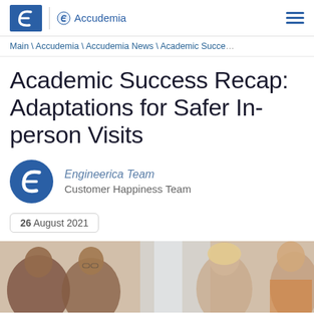Accudemia
Main \ Accudemia \ Accudemia News \ Academic Succe...
Academic Success Recap: Adaptations for Safer In-person Visits
Engineerica Team
Customer Happiness Team
26 August 2021
[Figure (photo): Students studying together in a group, two students with glasses on the left, and two female students on the right]